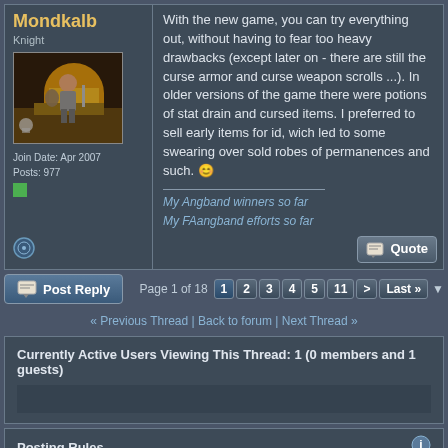Mondkalb
Knight
[Figure (illustration): Fantasy RPG game avatar showing a warrior character on a dungeon ledge with yellow/orange background]
Join Date: Apr 2007
Posts: 977
With the new game, you can try everything out, without having to fear too heavy drawbacks (except later on - there are still the curse armor and curse weapon scrolls ...). In older versions of the game there were potions of stat drain and cursed items. I preferred to sell early items for id, wich led to some swearing over sold robes of permanences and such.
My Angband winners so far
My FAangband efforts so far
Post Reply
Page 1 of 18  1  2  3  4  5  11  >  Last »
« Previous Thread | Back to forum | Next Thread »
Currently Active Users Viewing This Thread: 1 (0 members and 1 guests)
Posting Rules